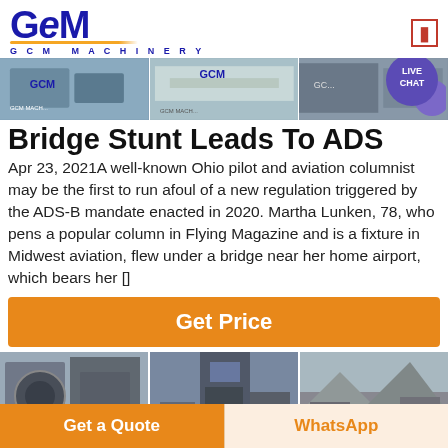GCM MACHINERY
[Figure (photo): Three banner images of GCM Machinery equipment and facilities with a Live Chat bubble overlay]
Bridge Stunt Leads To ADS
Apr 23, 2021A well-known Ohio pilot and aviation columnist may be the first to run afoul of a new regulation triggered by the ADS-B mandate enacted in 2020. Martha Lunken, 78, who pens a popular column in Flying Magazine and is a fixture in Midwest aviation, flew under a bridge near her home airport, which bears her []
[Figure (other): Get Price button - orange CTA button]
[Figure (photo): Three images of GCM Machinery equipment - crusher machines and quarry operations]
Get a Quote | WhatsApp